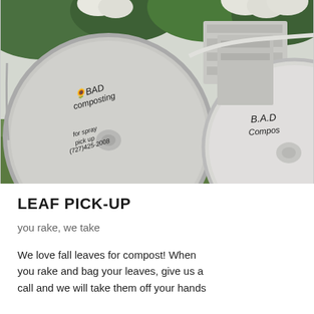[Figure (photo): Outdoor photo of two large white plastic buckets/containers with lids lying on their sides on grass, with green and white flowering plants in the background. The buckets are labeled 'B.A.D composting' in handwritten marker. One bucket also reads 'for spray pick-up (727)425-2008'. White plastic structures are visible behind the buckets.]
LEAF PICK-UP
you rake, we take
We love fall leaves for compost! When you rake and bag your leaves, give us a call and we will take them off your hands